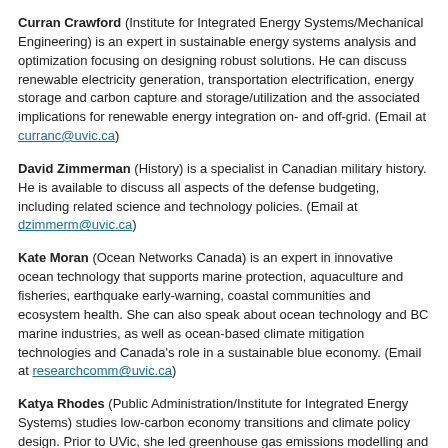Curran Crawford (Institute for Integrated Energy Systems/Mechanical Engineering) is an expert in sustainable energy systems analysis and optimization focusing on designing robust solutions. He can discuss renewable electricity generation, transportation electrification, energy storage and carbon capture and storage/utilization and the associated implications for renewable energy integration on- and off-grid. (Email at curranc@uvic.ca)
David Zimmerman (History) is a specialist in Canadian military history. He is available to discuss all aspects of the defense budgeting, including related science and technology policies. (Email at dzimmerm@uvic.ca)
Kate Moran (Ocean Networks Canada) is an expert in innovative ocean technology that supports marine protection, aquaculture and fisheries, earthquake early-warning, coastal communities and ecosystem health. She can also speak about ocean technology and BC marine industries, as well as ocean-based climate mitigation technologies and Canada's role in a sustainable blue economy. (Email at researchcomm@uvic.ca)
Katya Rhodes (Public Administration/Institute for Integrated Energy Systems) studies low-carbon economy transitions and climate policy design. Prior to UVic, she led greenhouse gas emissions modelling and economic analyses for the provincial CleanBC plan. She can speak about her current research investigating policies for effective, inclusive and politically acceptable pathways to mitigate climate change as the world transitions to a post-pandemic future. (Email at krhodes@uvic.ca)
Kelli Stajduhar (Nursing/Institute on Aging and Lifelong Health) is an expert on palliative approaches to care in aging and community health, with a focus